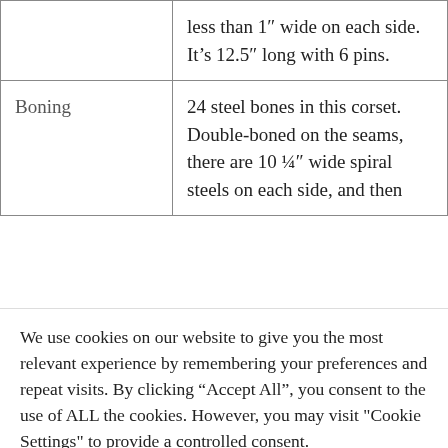|  | less than 1" wide on each side. It’s 12.5” long with 6 pins. |
| Boning | 24 steel bones in this corset. Double-boned on the seams, there are 10 ¼” wide spiral steels on each side, and then |
We use cookies on our website to give you the most relevant experience by remembering your preferences and repeat visits. By clicking “Accept All”, you consent to the use of ALL the cookies. However, you may visit "Cookie Settings" to provide a controlled consent.